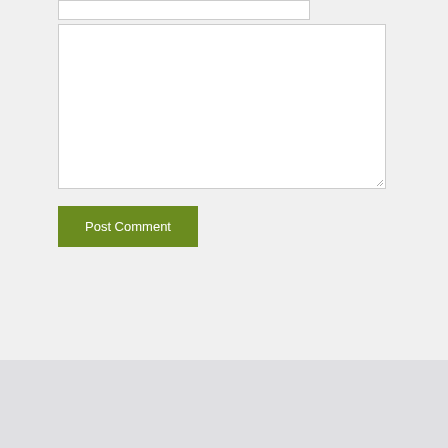[Figure (screenshot): A comment form area with a text input bar at top and a large textarea below, on a light gray background.]
Post Comment
© 2021 Artemisia Studios | 1313 Chestnut Ave South, Suite 102, Minneapolis, MN 55403 | 612-220-8890